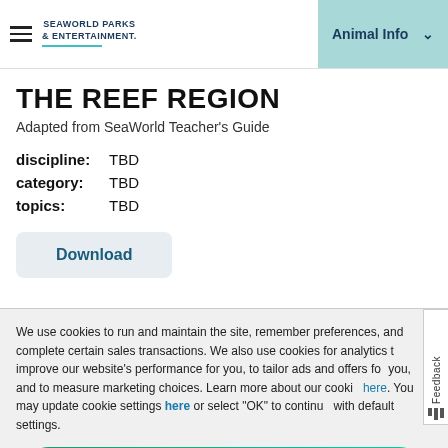SeaWorld Parks & Entertainment | Animal Info
THE REEF REGION
Adapted from SeaWorld Teacher's Guide
discipline: TBD
category: TBD
topics: TBD
Download
We use cookies to run and maintain the site, remember preferences, and complete certain sales transactions. We also use cookies for analytics to improve our website's performance for you, to tailor ads and offers for you, and to measure marketing choices. Learn more about our cookie here. You may update cookie settings here or select "OK" to continue with default settings.
OK >